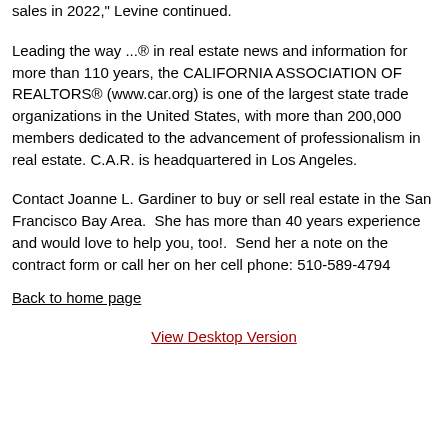sales in 2022," Levine continued.
Leading the way ...® in real estate news and information for more than 110 years, the CALIFORNIA ASSOCIATION OF REALTORS® (www.car.org) is one of the largest state trade organizations in the United States, with more than 200,000 members dedicated to the advancement of professionalism in real estate. C.A.R. is headquartered in Los Angeles.
Contact Joanne L. Gardiner to buy or sell real estate in the San Francisco Bay Area.  She has more than 40 years experience and would love to help you, too!.  Send her a note on the contract form or call her on her cell phone: 510-589-4794
Back to home page
View Desktop Version